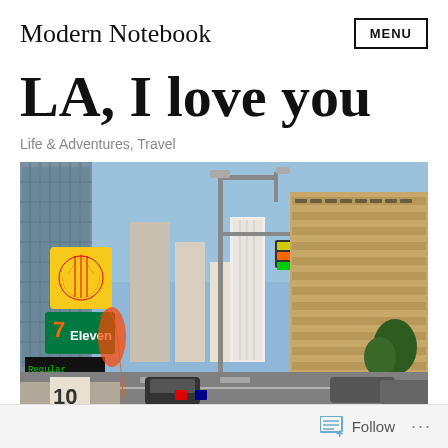Modern Notebook
LA, I love you
Life & Adventures, Travel
[Figure (photo): Street-level photo of a Los Angeles intersection showing a Shell gas station sign, 7-Eleven sign with gas prices (4.49, 4.59, 4.69), a tall street lamp, city skyline with buildings including a white high-rise, blue sky, and a large tan curved building on the right side. Cars and pedestrians visible at street level.]
Follow  ···